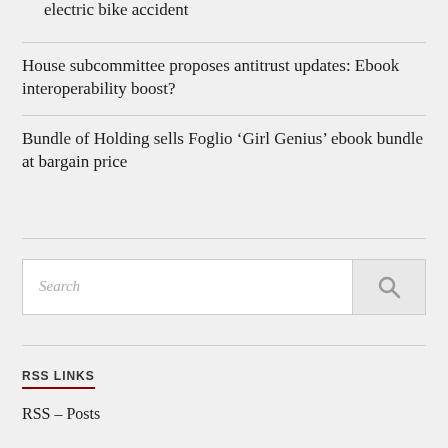electric bike accident
House subcommittee proposes antitrust updates: Ebook interoperability boost?
Bundle of Holding sells Foglio ‘Girl Genius’ ebook bundle at bargain price
[Figure (other): Search box with text input placeholder 'Search' and a search icon button]
RSS LINKS
RSS - Posts